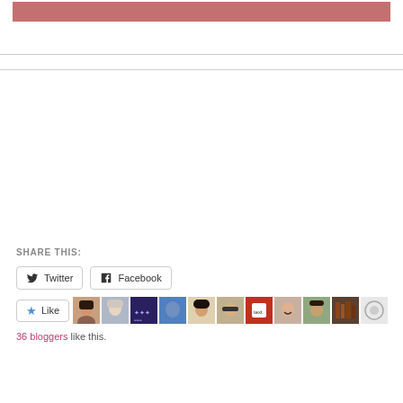[Figure (other): Pink/rose colored header bar]
[Figure (other): Search or navigation bar with thin border lines]
SHARE THIS:
Twitter
Facebook
[Figure (other): Like button with star icon and row of blogger avatar thumbnails]
36 bloggers like this.